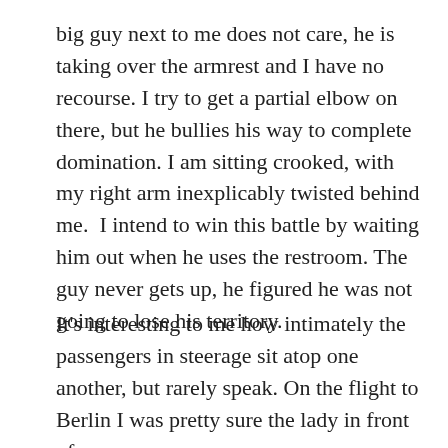big guy next to me does not care, he is taking over the armrest and I have no  recourse. I try to get a partial elbow on there, but he bullies his way to complete domination. I am sitting crooked, with my right arm inexplicably twisted behind me.  I intend to win this battle by waiting him out when he uses the restroom. The guy never gets up, he figured he was not going to lose his territory.
It's interesting to me how intimately the passengers in steerage sit atop one another, but rarely speak. On the flight to Berlin I was pretty sure the lady in front of me was